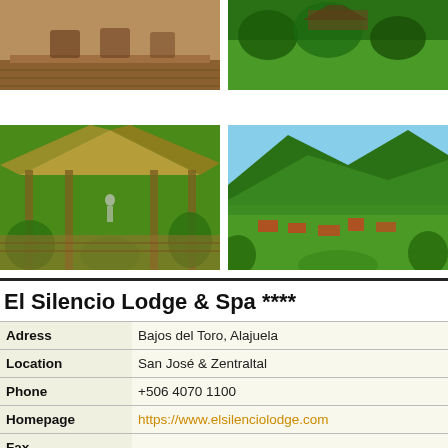[Figure (photo): Top-left photo: wooden deck with rocking chairs at a lodge]
[Figure (photo): Top-right photo: aerial view of lodge buildings surrounded by lush green jungle]
[Figure (photo): Bottom-left photo: open-air pavilion with yoga/meditation space amid tropical greenery]
[Figure (photo): Bottom-right photo: panoramic mountain valley view with red-roofed buildings and green hillsides]
El Silencio Lodge & Spa ****
|  |  |
| --- | --- |
| Adress | Bajos del Toro, Alajuela |
| Location | San José & Zentraltal |
| Phone | +506 4070 1100 |
| Homepage | https://www.elsilenciolodge.com |
| Fax | -- |
| E-mail | reserve@elsilenciolodge.com |